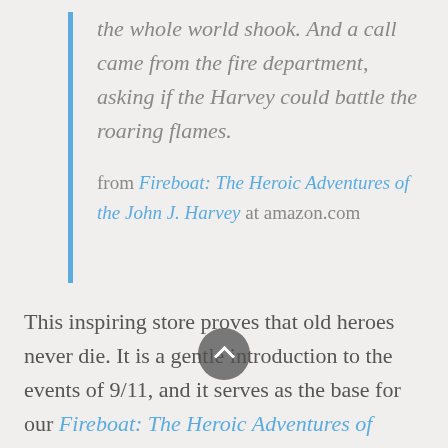the whole world shook. And a call came from the fire department, asking if the Harvey could battle the roaring flames.
from Fireboat: The Heroic Adventures of the John J. Harvey at amazon.com
This inspiring store proves that old heroes never die. It is a gentle introduction to the events of 9/11, and it serves as the base for our Fireboat: The Heroic Adventures of